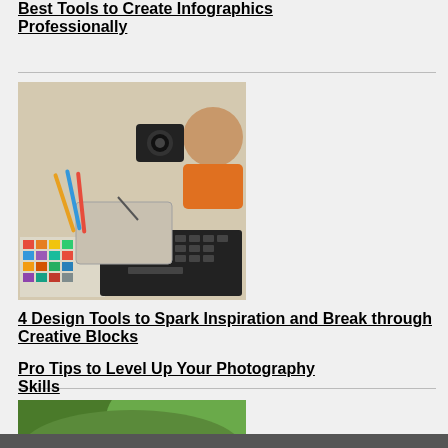Best Tools to Create Infographics Professionally
[Figure (photo): Overhead view of a designer working with camera, color swatches, keyboard, tablet and pencils on a desk]
4 Design Tools to Spark Inspiration and Break through Creative Blocks
[Figure (photo): Two elderly people smiling, photographed outdoors with green foliage in background]
Pro Tips to Level Up Your Photography Skills